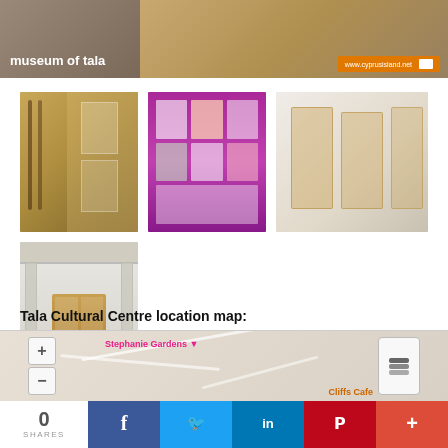[Figure (photo): Museum of Tala banner image showing interior with text 'museum of tala' overlaid on left side and www.cyprusisland.net URL badge on right side]
[Figure (photo): Museum interior showing display cases with artifacts and framed items on walls]
[Figure (photo): Pink interactive display board with grids and panels]
[Figure (photo): Museum hall with glass display cases and golden artifacts]
[Figure (photo): Museum entrance with wooden doors and potted plants]
Tala Cultural Centre location map:
[Figure (map): Map showing Tala Cultural Centre location with Stephanie Gardens label and Cliffs Cafe nearby, with zoom controls (+/-) and layer control]
0 SHARES  [Facebook] [Twitter] [LinkedIn] [Pinterest] [+]